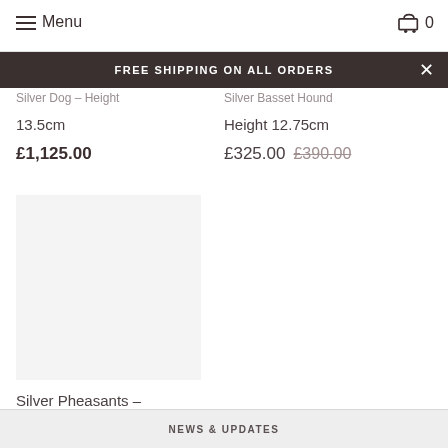Menu  0
FREE SHIPPING ON ALL ORDERS
Silver Dog – Height 13.5cm
£1,125.00
Silver Basset Hound Height 12.75cm
£325.00  £390.00
Silver Pheasants – Height 11.5cm
£295.00
NEWS & UPDATES